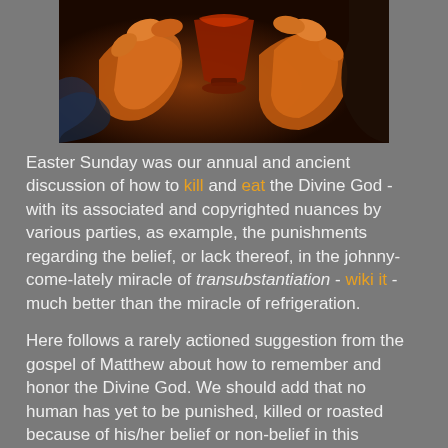[Figure (illustration): Partial view of a stylized painting showing hands holding a chalice/cup, rendered in warm orange and red tones with dark background, appears to be a religious artwork depicting the Eucharist.]
Easter Sunday was our annual and ancient discussion of how to kill and eat the Divine God - with its associated and copyrighted nuances by various parties, as example, the punishments regarding the belief, or lack thereof, in the johnny-come-lately miracle of transubstantiation - wiki it - much better than the miracle of refrigeration.

Here follows a rarely actioned suggestion from the gospel of Matthew about how to remember and honor the Divine God. We should add that no human has yet to be punished, killed or roasted because of his/her belief or non-belief in this pericope - not yet anyway, read on.

And, if what Matthew writes just proves to be the case, then the soup kitchen might be at the cutting edge of the true 'do unto Me' Eucharist. And our own Dorothy Day will be the great soup kitchen Saint- wiki again. Her optimistically named organisation - Catholic Workers - follows in her